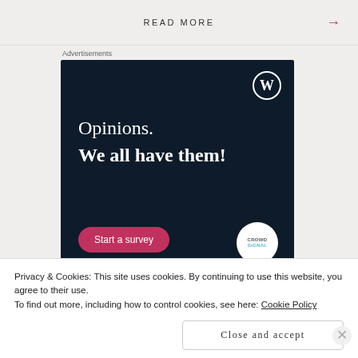READ MORE →
Advertisements
[Figure (illustration): WordPress Crowdsignal advertisement banner with dark navy background showing text 'Opinions. We all have them!' with a pink 'Start a survey' button and Crowdsignal logo circle. WordPress W logo in top right corner.]
Privacy & Cookies: This site uses cookies. By continuing to use this website, you agree to their use.
To find out more, including how to control cookies, see here: Cookie Policy
Close and accept